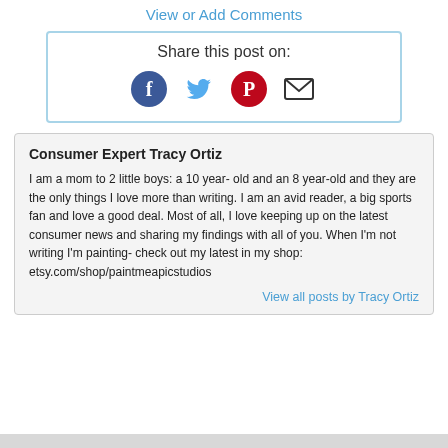View or Add Comments
Share this post on:
[Figure (infographic): Social sharing icons: Facebook (blue circle with f), Twitter (blue bird), Pinterest (red circle with P), Email (envelope)]
Consumer Expert Tracy Ortiz
I am a mom to 2 little boys: a 10 year- old and an 8 year-old and they are the only things I love more than writing. I am an avid reader, a big sports fan and love a good deal. Most of all, I love keeping up on the latest consumer news and sharing my findings with all of you. When I'm not writing I'm painting- check out my latest in my shop: etsy.com/shop/paintmeapicstudios
View all posts by Tracy Ortiz